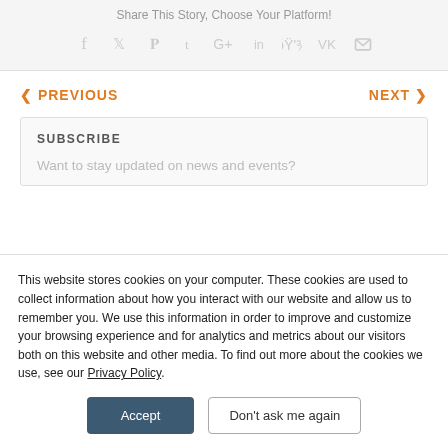Share This Story, Choose Your Platform!
[Figure (infographic): Social share icons: Facebook, Twitter, Pinterest, Tumblr, Google+, LinkedIn, Reddit, VK, Email]
PREVIOUS
NEXT
SUBSCRIBE
Want to stay updated on news and events?
This website stores cookies on your computer. These cookies are used to collect information about how you interact with our website and allow us to remember you. We use this information in order to improve and customize your browsing experience and for analytics and metrics about our visitors both on this website and other media. To find out more about the cookies we use, see our Privacy Policy.
Accept
Don't ask me again